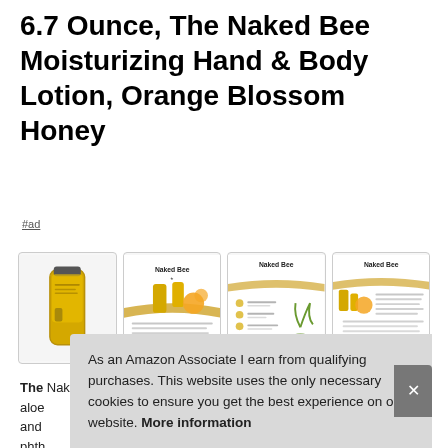6.7 Ounce, The Naked Bee Moisturizing Hand & Body Lotion, Orange Blossom Honey
#ad
[Figure (photo): Four thumbnail product images of The Naked Bee Moisturizing Hand & Body Lotion in yellow packaging with orange blossom honey scent, showing product tube, brand logo with text about ingredients, list of product features, and brand philosophy text.]
The Naked Bee uses organic ingredients such as aloe and and phth glyco... (text continues, partially visible)
As an Amazon Associate I earn from qualifying purchases. This website uses the only necessary cookies to ensure you get the best experience on our website. More information